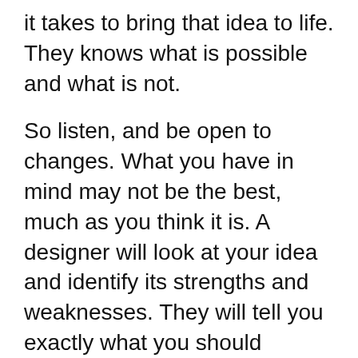it takes to bring that idea to life. They knows what is possible and what is not.
So listen, and be open to changes. What you have in mind may not be the best, much as you think it is. A designer will look at your idea and identify its strengths and weaknesses. They will tell you exactly what you should expect. Keeping an open mind helps foster a good working relationship with the designer.
4.      Provide samples
Give the designer an example to work with. This may be a previous project, or a style sheet they can look at. You could provide